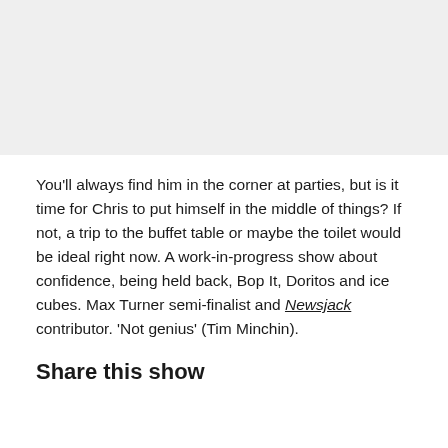[Figure (photo): Gray placeholder image area at the top of the page]
You'll always find him in the corner at parties, but is it time for Chris to put himself in the middle of things? If not, a trip to the buffet table or maybe the toilet would be ideal right now. A work-in-progress show about confidence, being held back, Bop It, Doritos and ice cubes. Max Turner semi-finalist and Newsjack contributor. 'Not genius' (Tim Minchin).
Share this show